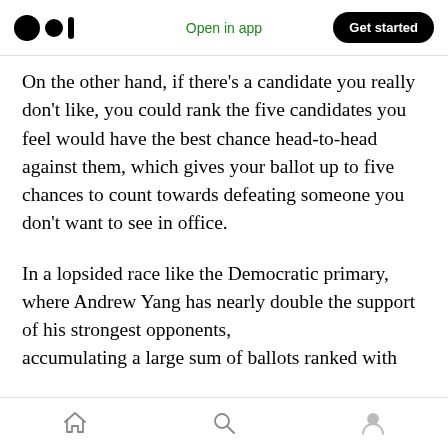Open in app | Get started
On the other hand, if there’s a candidate you really don’t like, you could rank the five candidates you feel would have the best chance head-to-head against them, which gives your ballot up to five chances to count towards defeating someone you don’t want to see in office.
In a lopsided race like the Democratic primary, where Andrew Yang has nearly double the support of his strongest opponents, accumulating a large sum of ballots ranked with
Home | Search | Profile